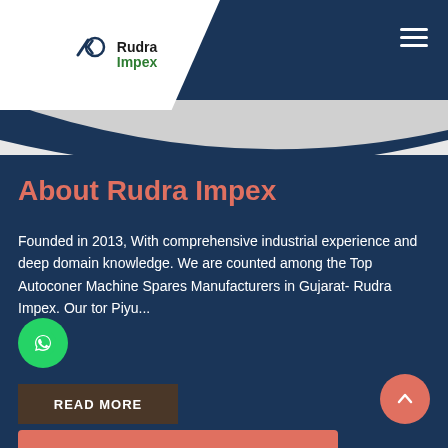[Figure (logo): Rudra Impex logo with R icon and green Impex text on white angled panel]
About Rudra Impex
Founded in 2013, With comprehensive industrial experience and deep domain knowledge. We are counted among the Top Autoconer Machine Spares Manufacturers in Gujarat- Rudra Impex. Our tor Piyu...
READ MORE